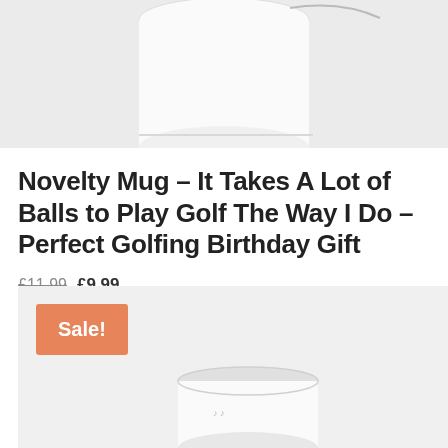[Figure (photo): Top portion of a white novelty mug on a light grey background, cropped at the top of the page]
Novelty Mug – It Takes A Lot of Balls to Play Golf The Way I Do – Perfect Golfing Birthday Gift
£11.99 £9.99
[Figure (photo): Second product listing showing a white mug on a light grey background with an orange Sale! badge in the top left corner]